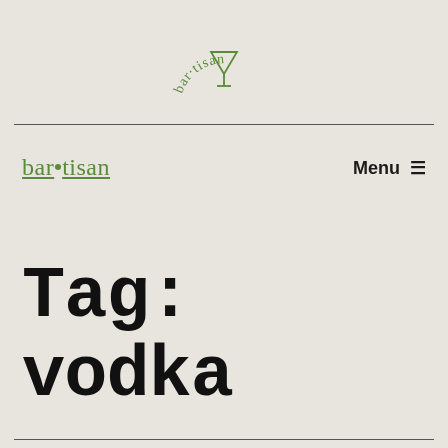[Figure (logo): bar·tisan arched logo in olive green with a martini glass icon in the center]
bar•tisan   Menu ☰
Tag: vodka